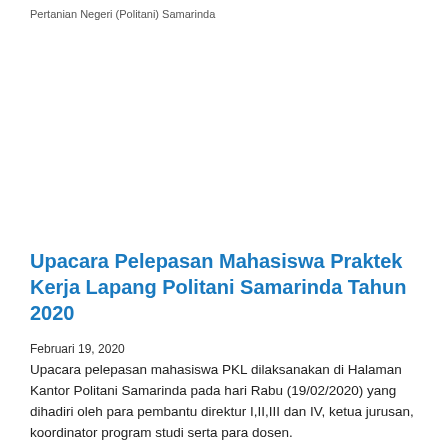Pertanian Negeri (Politani) Samarinda
Upacara Pelepasan Mahasiswa Praktek Kerja Lapang Politani Samarinda Tahun 2020
Februari 19, 2020
Upacara pelepasan mahasiswa PKL dilaksanakan di Halaman Kantor Politani Samarinda pada hari Rabu (19/02/2020) yang dihadiri oleh para pembantu direktur I,II,III dan IV, ketua jurusan, koordinator program studi serta para dosen.